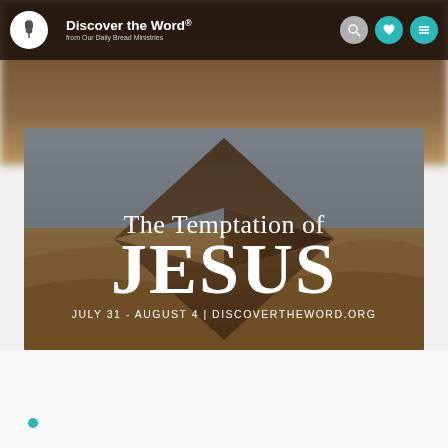Discover the Word. from Our Daily Bread Ministries
[Figure (illustration): Featured series banner image: 'The Temptation of JESUS' with desert landscape background and diamond wood-panel geometric overlay. Text reads: 'The Temptation of JESUS / JULY 31 - AUGUST 4 | DISCOVERTHEWORD.ORG']
[Figure (other): Small teal dot at the bottom left of the page]